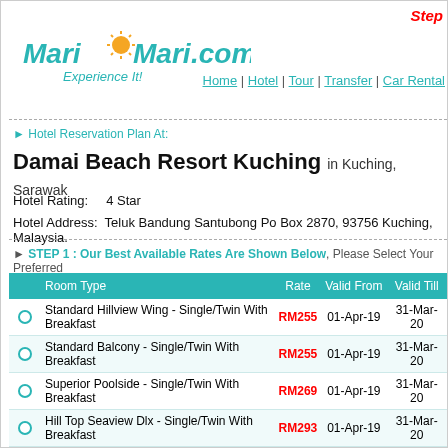Step
[Figure (logo): MariMari.com Experience It! logo with teal text and sun graphic]
Home | Hotel | Tour | Transfer | Car Rental
▶ Hotel Reservation Plan At:
Damai Beach Resort Kuching in Kuching, Sarawak
Hotel Rating:    4 Star
Hotel Address:  Teluk Bandung Santubong Po Box 2870, 93756 Kuching, Malaysia.
▶ STEP 1 : Our Best Available Rates Are Shown Below, Please Select Your Preferred
|  | Room Type | Rate | Valid From | Valid Till |
| --- | --- | --- | --- | --- |
|  | Standard Hillview Wing - Single/Twin With Breakfast | RM255 | 01-Apr-19 | 31-Mar-20 |
|  | Standard Balcony - Single/Twin With Breakfast | RM255 | 01-Apr-19 | 31-Mar-20 |
|  | Superior Poolside - Single/Twin With Breakfast | RM269 | 01-Apr-19 | 31-Mar-20 |
|  | Hill Top Seaview Dlx - Single/Twin With Breakfast | RM293 | 01-Apr-19 | 31-Mar-20 |
| ● | Chalet - Single/Twin With Breakfast | RM305 | 01-Apr-19 | 31-Mar-20 |